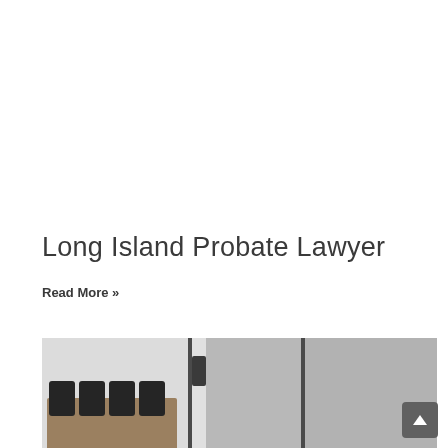Long Island Probate Lawyer
Read More »
[Figure (photo): Office conference room with chairs around a table, separated by glass partitions]